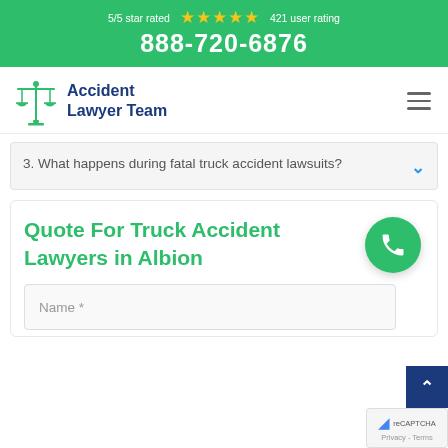5/5 star rated ★★★★★ 421 user rating 888-720-6876
[Figure (logo): Accident Lawyer Team logo with scales of justice icon]
Accident Lawyer Team
3. What happens during fatal truck accident lawsuits?
Quote For Truck Accident Lawyers in Albion
Name *